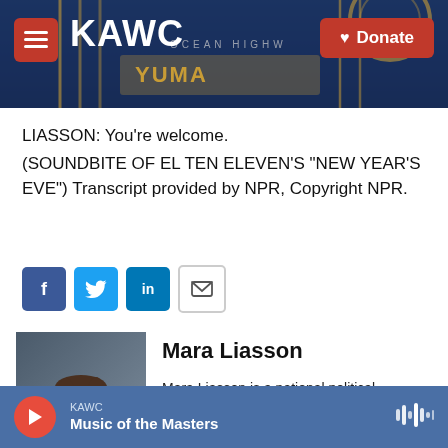[Figure (screenshot): KAWC public radio website header banner with logo, hamburger menu button, and red Donate button. Background shows a night-time outdoor sign/structure.]
LIASSON: You're welcome.
(SOUNDBITE OF EL TEN ELEVEN'S "NEW YEAR'S EVE") Transcript provided by NPR, Copyright NPR.
[Figure (infographic): Social sharing buttons: Facebook (blue), Twitter (blue), LinkedIn (blue), Email (outline)]
[Figure (photo): Portrait photo of Mara Liasson, a woman in a blue jacket against a dark background.]
Mara Liasson
Mara Liasson is a national political correspondent for NPR. Her reports can be heard regularly on NPR's award-winning newsmagazine programs Morning Edition
KAWC  Music of the Masters